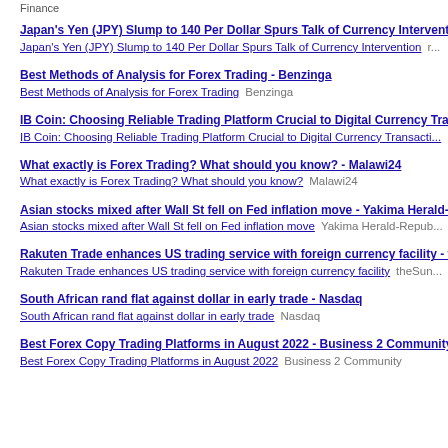Finance
Japan's Yen (JPY) Slump to 140 Per Dollar Spurs Talk of Currency Intervention - ...
Japan's Yen (JPY) Slump to 140 Per Dollar Spurs Talk of Currency Intervention  [source]
Best Methods of Analysis for Forex Trading - Benzinga
Best Methods of Analysis for Forex Trading  Benzinga
IB Coin: Choosing Reliable Trading Platform Crucial to Digital Currency Transacti...
IB Coin: Choosing Reliable Trading Platform Crucial to Digital Currency Transacti...
What exactly is Forex Trading? What should you know? - Malawi24
What exactly is Forex Trading? What should you know?  Malawi24
Asian stocks mixed after Wall St fell on Fed inflation move - Yakima Herald-Repu...
Asian stocks mixed after Wall St fell on Fed inflation move  Yakima Herald-Repub...
Rakuten Trade enhances US trading service with foreign currency facility - theSu...
Rakuten Trade enhances US trading service with foreign currency facility  theSun...
South African rand flat against dollar in early trade - Nasdaq
South African rand flat against dollar in early trade  Nasdaq
Best Forex Copy Trading Platforms in August 2022 - Business 2 Community
Best Forex Copy Trading Platforms in August 2022  Business 2 Community